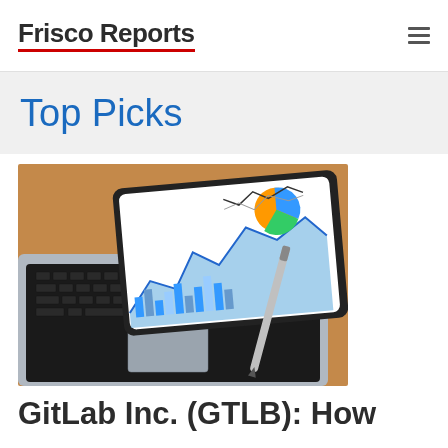Frisco Reports
Top Picks
[Figure (photo): Laptop computer with a tablet showing financial charts and graphs, a stylus pen resting on the tablet, on a wooden desk surface]
GitLab Inc. (GTLB): How